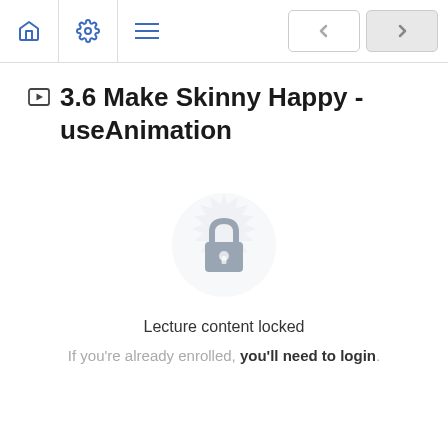Navigation bar with home, settings, menu icons and prev/next buttons
3.6 Make Skinny Happy - useAnimation
[Figure (illustration): Locked content padlock icon with decorative circular badge background]
Lecture content locked
If you're already enrolled, you'll need to login.